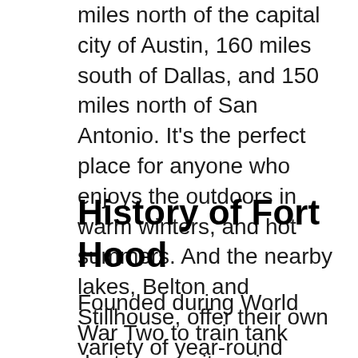miles north of the capital city of Austin, 160 miles south of Dallas, and 150 miles north of San Antonio. It’s the perfect place for anyone who enjoys the outdoors in warm winters, and hot summers. And the nearby lakes, Belton and Stillhouse, offer their own variety of year-round activities. So there are plenty of reasons your military family should be excited to relocate here.
History of Fort Hood
Founded during World War Two to train tank destroyer units going up against the Germans’ dreaded armored divisions, the base (then